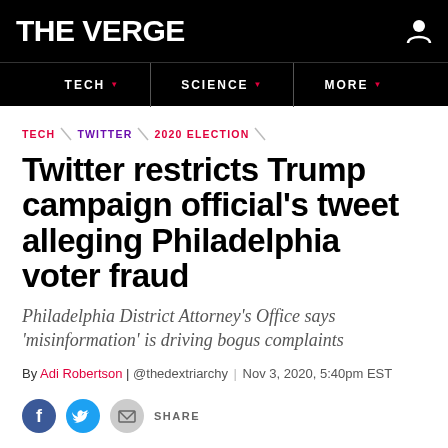THE VERGE
TECH | SCIENCE | MORE
TECH \ TWITTER \ 2020 ELECTION
Twitter restricts Trump campaign official's tweet alleging Philadelphia voter fraud
Philadelphia District Attorney's Office says 'misinformation' is driving bogus complaints
By Adi Robertson | @thedextriarchy | Nov 3, 2020, 5:40pm EST